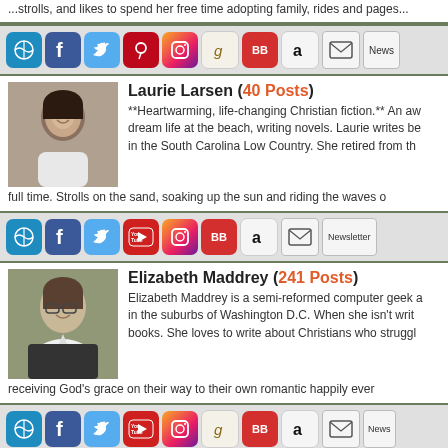...strolls, and likes to spend her free time adopting family, rides and pages...
[Figure (infographic): Social media icon bar: WordPress, Facebook, Twitter, Pinterest, Instagram, Goodreads, BookBub, Amazon, Mail, Newsletter]
Laurie Larsen (40 Posts)
[Figure (photo): Photo of Laurie Larsen, a woman smiling]
**Heartwarming, life-changing Christian fiction.** An award-winning author who lives her dream life at the beach, writing novels. Laurie writes beach romances set in the South Carolina Low Country. She retired from the beach full time. Strolls on the sand, soaking up the sun and riding the waves o...
[Figure (infographic): Social media icon bar: WordPress, Facebook, Twitter, YouTube, Instagram, BookBub, Amazon, Mail, Newsletter]
Elizabeth Maddrey (241 Posts)
[Figure (photo): Photo of Elizabeth Maddrey, a woman with glasses smiling]
Elizabeth Maddrey is a semi-reformed computer geek and lives in the suburbs of Washington D.C. When she isn't writing books. She loves to write about Christians who struggle with receiving God's grace on their way to their own romantic happily ever...
[Figure (infographic): Social media icon bar: WordPress, Facebook, Twitter, YouTube, Instagram, Goodreads, BookBub, Amazon, Mail, Newsletter]
Carolyn Miller (10 Posts)